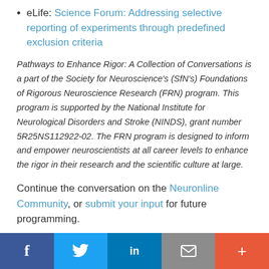eLife: Science Forum: Addressing selective reporting of experiments through predefined exclusion criteria
Pathways to Enhance Rigor: A Collection of Conversations is a part of the Society for Neuroscience's (SfN's) Foundations of Rigorous Neuroscience Research (FRN) program. This program is supported by the National Institute for Neurological Disorders and Stroke (NINDS), grant number 5R25NS112922-02. The FRN program is designed to inform and empower neuroscientists at all career levels to enhance the rigor in their research and the scientific culture at large.
Continue the conversation on the Neuronline Community, or submit your input for future programming.